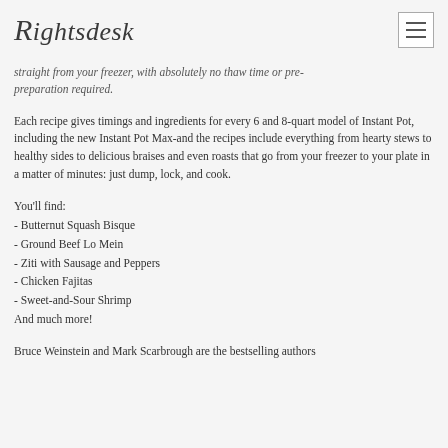Rightsdesk
straight from your freezer, with absolutely no thaw time or pre-preparation required.
Each recipe gives timings and ingredients for every 6 and 8-quart model of Instant Pot, including the new Instant Pot Max-and the recipes include everything from hearty stews to healthy sides to delicious braises and even roasts that go from your freezer to your plate in a matter of minutes: just dump, lock, and cook.
You'll find:
- Butternut Squash Bisque
- Ground Beef Lo Mein
- Ziti with Sausage and Peppers
- Chicken Fajitas
- Sweet-and-Sour Shrimp
And much more!
Bruce Weinstein and Mark Scarbrough are the bestselling authors